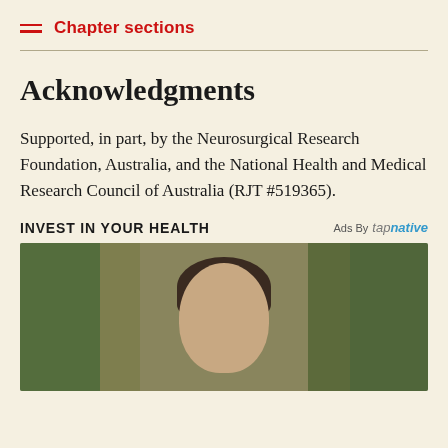Chapter sections
Acknowledgments
Supported, in part, by the Neurosurgical Research Foundation, Australia, and the National Health and Medical Research Council of Australia (RJT #519365).
INVEST IN YOUR HEALTH
Ads By tapnative
[Figure (photo): Portrait photo of a person with short curly dark hair and round glasses, with a blurred green outdoor background]